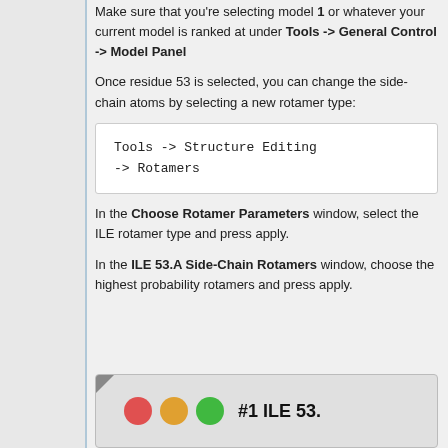Make sure that you're selecting model 1 or whatever your current model is ranked at under Tools -> General Control -> Model Panel
Once residue 53 is selected, you can change the side-chain atoms by selecting a new rotamer type:
Tools -> Structure Editing -> Rotamers
In the Choose Rotamer Parameters window, select the ILE rotamer type and press apply.
In the ILE 53.A Side-Chain Rotamers window, choose the highest probability rotamers and press apply.
[Figure (screenshot): Screenshot showing window title bar with traffic light buttons (red, yellow, green) and text '#1 ILE 53.']